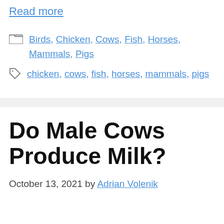Read more
Birds, Chicken, Cows, Fish, Horses, Mammals, Pigs
chicken, cows, fish, horses, mammals, pigs
Do Male Cows Produce Milk?
October 13, 2021 by Adrian Volenik